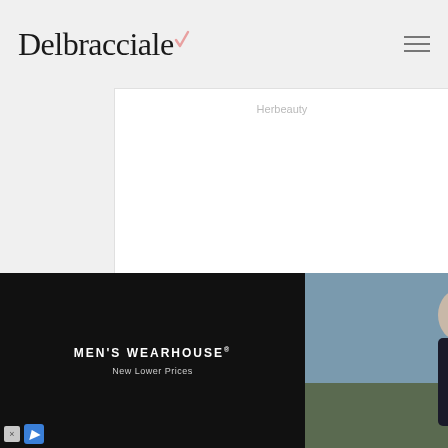Delbracciale
Herbeauty
New Ninja Covid: What Makes This Variant So Much More Contagious?
Brainberries
[Figure (photo): Men's Wearhouse advertisement showing a couple in formal wear and a man in a suit, with INFO button]
MEN'S WEARHOUSE® New Lower Prices